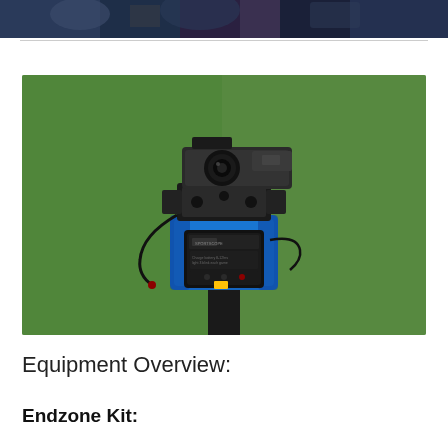[Figure (photo): Partial cropped photo at top of page showing people or sports broadcast scene]
[Figure (photo): Sportscope endzone camera kit mounted on a pole against a green background. The device consists of a blue motorized pan/tilt head with a Sony HD camcorder mounted on top and a black Sportscope battery/control unit attached to the front. Cables are connected to the unit.]
Equipment Overview:
Endzone Kit: